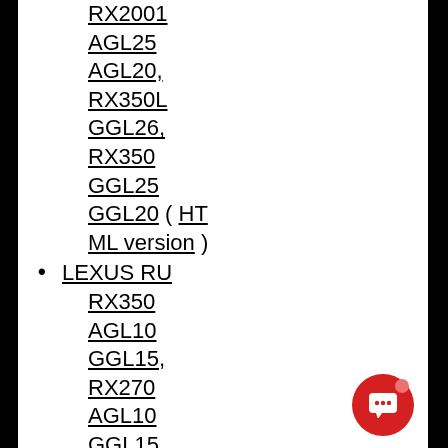RX2001
AGL25
AGL20,
RX350L
GGL26,
RX350
GGL25
GGL20 ( HTML version )
LEXUS RU
RX350
AGL10
GGL15,
RX270
AGL10
GGL15
(03/2012-->08/2015) (